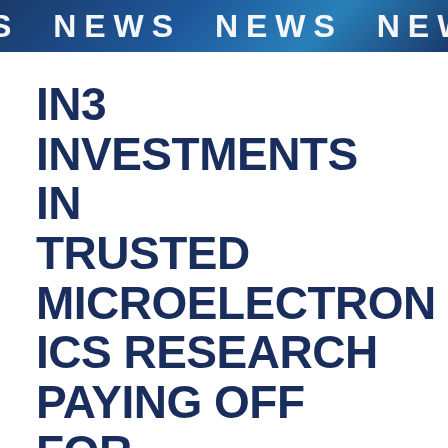S NEWS NEWS NEWS NEWS NE
IN3 INVESTMENTS IN TRUSTED MICROELECTRONICS RESEARCH PAYING OFF FOR INDIANA AND THE NATION
Oct 29, 2020